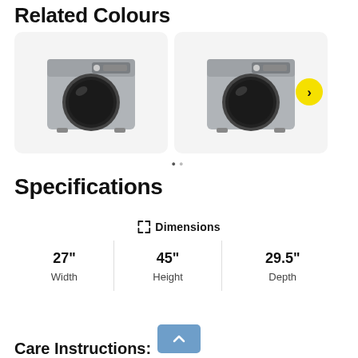Related Colours
[Figure (photo): Two front-load washing machines in silver/platinum color shown in card layout with navigation arrow]
Specifications
⤢ Dimensions
| 27" | 45" | 29.5" |
| --- | --- | --- |
| Width | Height | Depth |
Care Instructions: